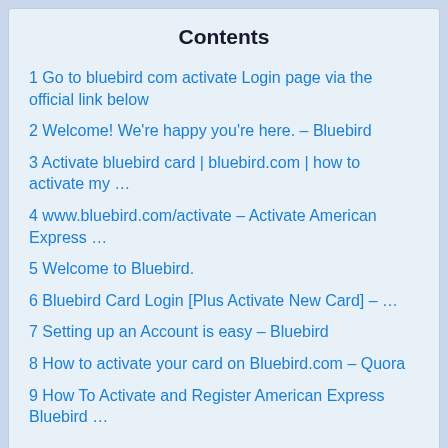Contents
1 Go to bluebird com activate Login page via the official link below
2 Welcome! We're happy you're here. – Bluebird
3 Activate bluebird card | bluebird.com | how to activate my …
4 www.bluebird.com/activate – Activate American Express …
5 Welcome to Bluebird.
6 Bluebird Card Login [Plus Activate New Card] – …
7 Setting up an Account is easy – Bluebird
8 How to activate your card on Bluebird.com – Quora
9 How To Activate and Register American Express Bluebird …